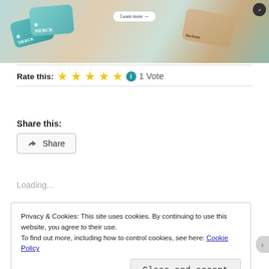[Figure (photo): Advertisement image showing Merck and Hachette branded cards/materials with a 'Learn more →' button and 'REPORT THIS AD' text. Dark badge in top right corner.]
Rate this: ★★★★★ ℹ 1 Vote
Share this:
Share
Loading...
Privacy & Cookies: This site uses cookies. By continuing to use this website, you agree to their use.
To find out more, including how to control cookies, see here: Cookie Policy
Close and accept